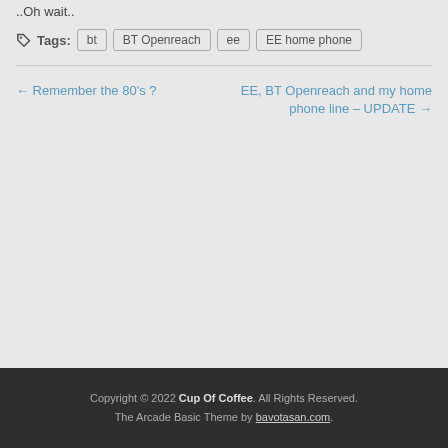..Oh wait..
Tags: bt | BT Openreach | ee | EE home phone
← Remember the 80's ?
EE, BT Openreach and my home phone line – UPDATE →
Copyright © 2022 Cup Of Coffee. All Rights Reserved. The Arcade Basic Theme by bavotasan.com.